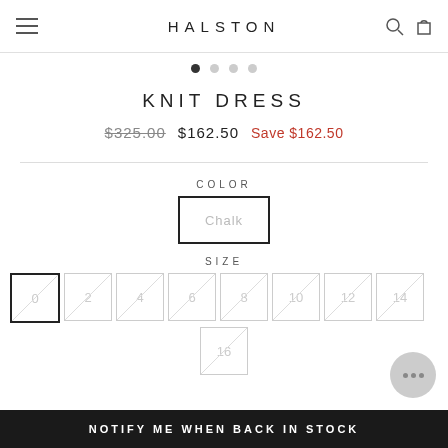HALSTON
KNIT DRESS
$325.00  $162.50  Save $162.50
COLOR
Chalk
SIZE
0  2  4  6  8  10  12  14  16
NOTIFY ME WHEN BACK IN STOCK